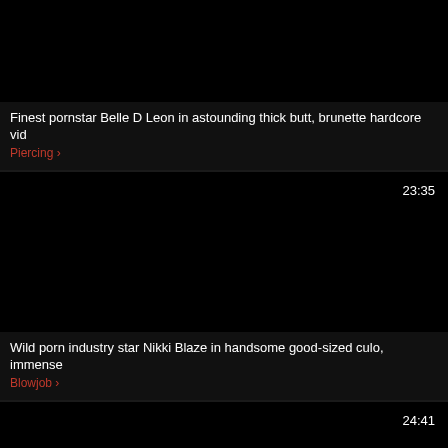[Figure (screenshot): Dark video thumbnail, black frame]
Finest pornstar Belle D Leon in astounding thick butt, brunette hardcore vid
Piercing >
[Figure (screenshot): Dark video thumbnail, black frame, duration 23:35]
Wild porn industry star Nikki Blaze in handsome good-sized culo, immense
Blowjob >
[Figure (screenshot): Dark video thumbnail, black frame, duration 24:41]